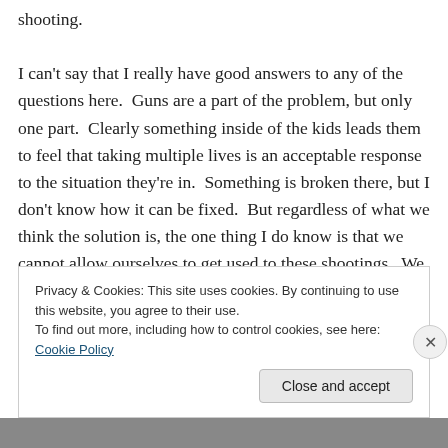shooting.

I can't say that I really have good answers to any of the questions here.  Guns are a part of the problem, but only one part.  Clearly something inside of the kids leads them to feel that taking multiple lives is an acceptable response to the situation they're in.  Something is broken there, but I don't know how it can be fixed.  But regardless of what we think the solution is, the one thing I do know is that we cannot allow ourselves to get used to these shootings.  We can't let them become a normal part of our daily life–
Privacy & Cookies: This site uses cookies. By continuing to use this website, you agree to their use.
To find out more, including how to control cookies, see here: Cookie Policy
Close and accept